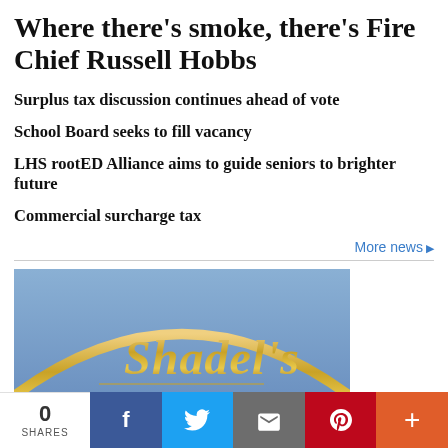Where there's smoke, there's Fire Chief Russell Hobbs
Surplus tax discussion continues ahead of vote
School Board seeks to fill vacancy
LHS rootED Alliance aims to guide seniors to brighter future
Commercial surcharge tax
More news ▶
[Figure (photo): Photo of Shadel's logo — gold script text 'Shadel's' on a blue background]
0 SHARES | Facebook | Twitter | Email | Pinterest | More